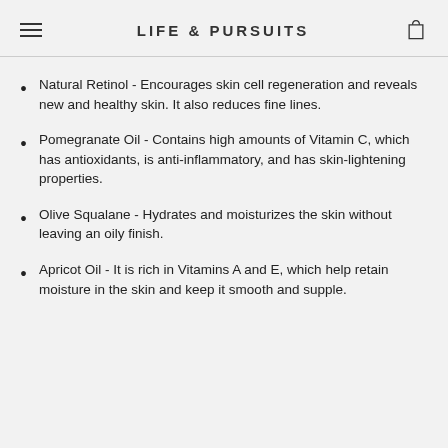LIFE & PURSUITS
Natural Retinol - Encourages skin cell regeneration and reveals new and healthy skin. It also reduces fine lines.
Pomegranate Oil - Contains high amounts of Vitamin C, which has antioxidants, is anti-inflammatory, and has skin-lightening properties.
Olive Squalane - Hydrates and moisturizes the skin without leaving an oily finish.
Apricot Oil - It is rich in Vitamins A and E, which help retain moisture in the skin and keep it smooth and supple.